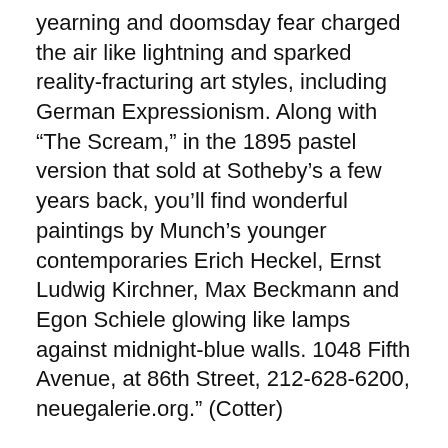yearning and doomsday fear charged the air like lightning and sparked reality-fracturing art styles, including German Expressionism. Along with “The Scream,” in the 1895 pastel version that sold at Sotheby’s a few years back, you’ll find wonderful paintings by Munch’s younger contemporaries Erich Heckel, Ernst Ludwig Kirchner, Max Beckmann and Egon Schiele glowing like lamps against midnight-blue walls. 1048 Fifth Avenue, at 86th Street, 212-628-6200, neuegalerie.org.” (Cotter)
Whitney Museum of American Art:
‘Laura Poitras: Astro Noise’ (LAST DAY)
“An engrossing first solo museum show by an artist-activist known for films documenting the United States government’s post-Sept. 11 “war on terror,” notably the Oscar-winning “Citizenfour.” Here she pursues her forensic mediation on global surveillance with a suite of